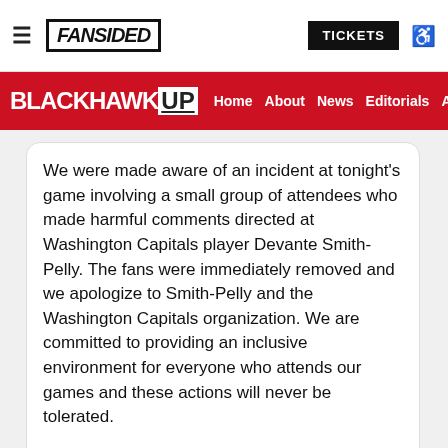FanSided | TICKETS
BLACKHAWK UP | Home | About | News | Editorials | An…
We were made aware of an incident at tonight's game involving a small group of attendees who made harmful comments directed at Washington Capitals player Devante Smith-Pelly. The fans were immediately removed and we apologize to Smith-Pelly and the Washington Capitals organization. We are committed to providing an inclusive environment for everyone who attends our games and these actions will never be tolerated.
5:31 AM · Feb 18, 2018
❤ 5.2K   Reply   Copy link
Read 367 replies